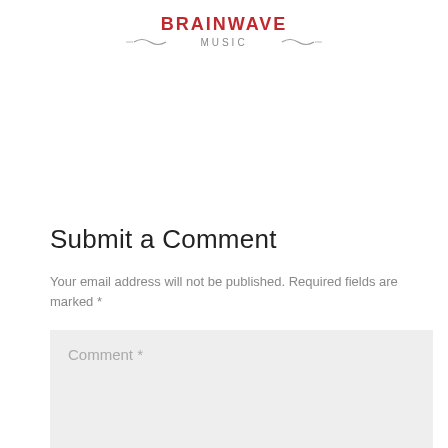[Figure (logo): Brainwave Music logo with red uppercase text BRAINWAVE and gray MUSIC below, with decorative wave lines on each side]
Submit a Comment
Your email address will not be published. Required fields are marked *
Comment *